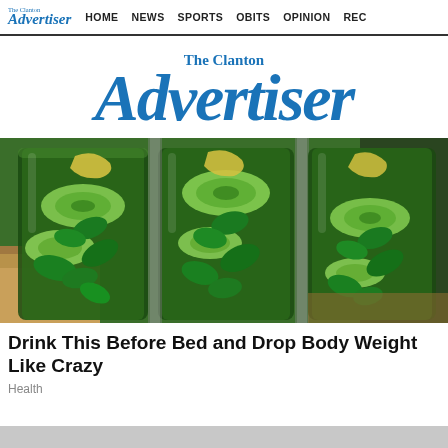The Clanton Advertiser  HOME  NEWS  SPORTS  OBITS  OPINION  REC
[Figure (logo): The Clanton Advertiser masthead logo in blue serif italic font]
[Figure (photo): Three glass jars filled with cucumber slices, mint leaves, and lemon pieces — infused water preparation]
Drink This Before Bed and Drop Body Weight Like Crazy
Health